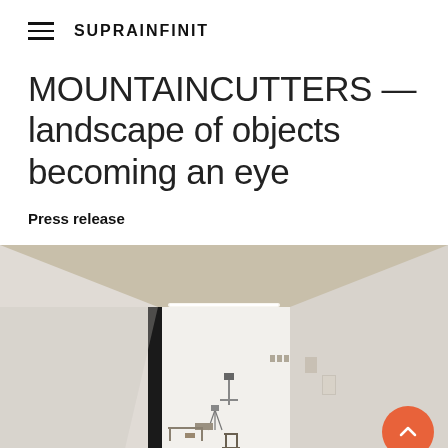SUPRAINFINIT
MOUNTAINCUTTERS — landscape of objects becoming an eye
Press release
[Figure (photo): Interior view of a minimalist white gallery space with concrete ceiling beams, a linear light fixture, and various small artworks and sculptural objects sparsely arranged on the floor and walls.]